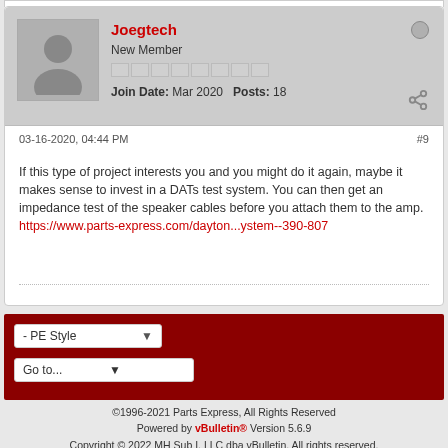Joegtech
New Member
Join Date: Mar 2020  Posts: 18
03-16-2020, 04:44 PM  #9
If this type of project interests you and you might do it again, maybe it makes sense to invest in a DATs test system. You can then get an impedance test of the speaker cables before you attach them to the amp.
https://www.parts-express.com/dayton...ystem--390-807
- PE Style
Go to...
©1996-2021 Parts Express, All Rights Reserved
Powered by vBulletin® Version 5.6.9
Copyright © 2022 MH Sub I, LLC dba vBulletin. All rights reserved.
All times are GMT-5. This page was generated at 11:33 AM.